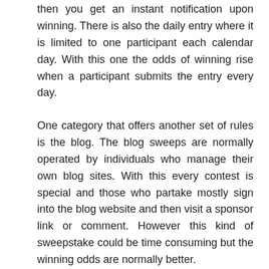then you get an instant notification upon winning. There is also the daily entry where it is limited to one participant each calendar day. With this one the odds of winning rise when a participant submits the entry every day.
One category that offers another set of rules is the blog. The blog sweeps are normally operated by individuals who manage their own blog sites. With this every contest is special and those who partake mostly sign into the blog website and then visit a sponsor link or comment. However this kind of sweepstake could be time consuming but the winning odds are normally better.
Advertisement